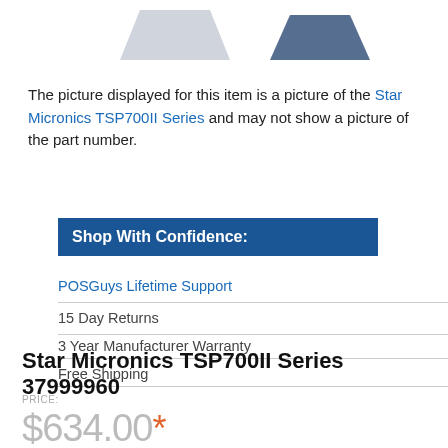[Figure (photo): Product images partially visible at top: two printer/device silhouettes, one grey and one dark blue]
The picture displayed for this item is a picture of the Star Micronics TSP700II Series and may not show a picture of the part number.
Shop With Confidence:
POSGuys Lifetime Support
15 Day Returns
3 Year Manufacturer Warranty
Free Shipping
Star Micronics TSP700II Series 37999960
Price: $634.00 *